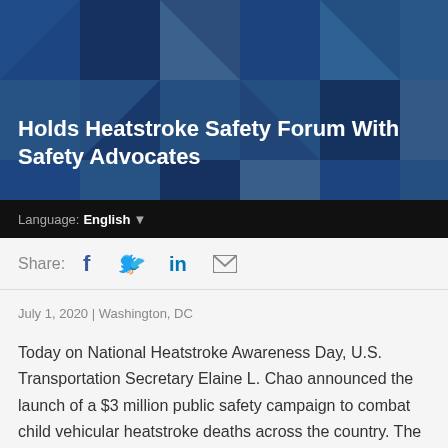Holds Heatstroke Safety Forum With Safety Advocates
Language: English
Share:
July 1, 2020 | Washington, DC
Today on National Heatstroke Awareness Day, U.S. Transportation Secretary Elaine L. Chao announced the launch of a $3 million public safety campaign to combat child vehicular heatstroke deaths across the country. The announcement is part of the Department's ongoing work to engage with safety advocates and provide a unified message to educate the public about the dangers hot vehicles pose to children.